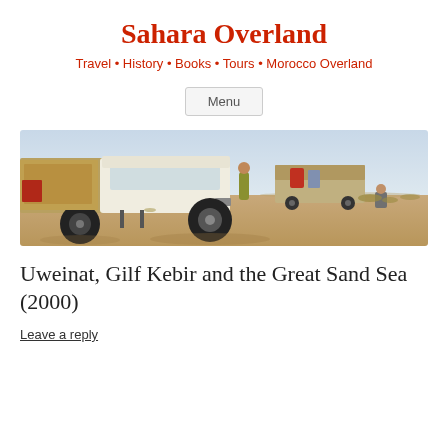Sahara Overland
Travel • History • Books • Tours • Morocco Overland
Menu
[Figure (photo): Desert scene with vehicles loaded with equipment parked on sandy terrain, with people standing nearby and sparse desert vegetation in background under hazy sky]
Uweinat, Gilf Kebir and the Great Sand Sea (2000)
Leave a reply